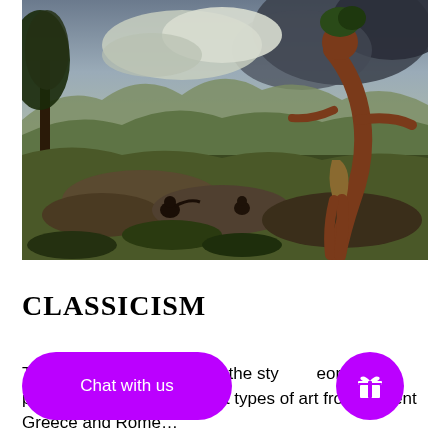[Figure (illustration): Classical painting depicting a mythological or pastoral scene with a large standing male figure (possibly a giant or deity) in the right foreground, two smaller figures in the middle ground on rocky terrain, set in a dramatic landscape with trees, hills, and stormy sky with clouds.]
CLASSICISM
T[...] embodied in the sty[...] eories, or philosophies of the different types of art from ancient Greece and Rome...